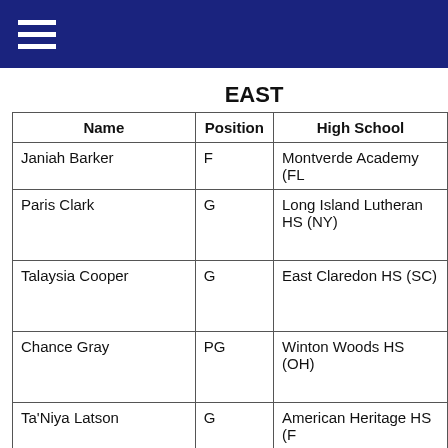EAST
| Name | Position | High School |
| --- | --- | --- |
| Janiah Barker | F | Montverde Academy (FL) |
| Paris Clark | G | Long Island Lutheran HS (NY) |
| Talaysia Cooper | G | East Claredon HS (SC) |
| Chance Gray | PG | Winton Woods HS (OH) |
| Ta'Niya Latson | G | American Heritage HS (F…) |
| Indya Nivar | G | Apex Friendship HS (NC) |
| Kyla Oldacre | P | William Mason HS (OH) |
| Kiki Rice | PG | Sidwell Friends (DC) |
| Ayanna Patterson | F | Homestead HS (IN) |